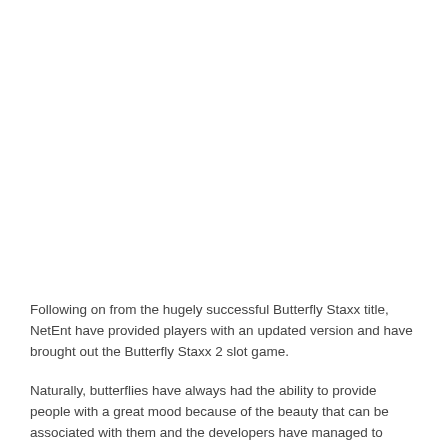Following on from the hugely successful Butterfly Staxx title, NetEnt have provided players with an updated version and have brought out the Butterfly Staxx 2 slot game.
Naturally, butterflies have always had the ability to provide people with a great mood because of the beauty that can be associated with them and the developers have managed to implement those emotions with this slot game.